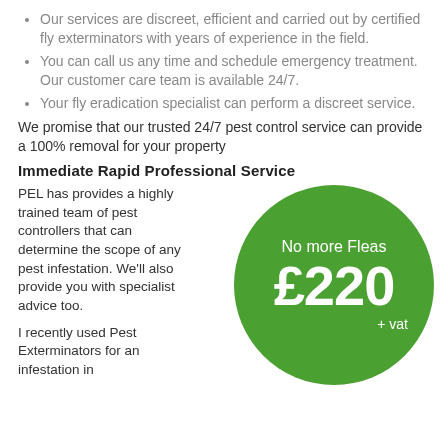Our services are discreet, efficient and carried out by certified fly exterminators with years of experience in the field.
You can call us any time and schedule emergency treatment. Our customer care team is available 24/7.
Your fly eradication specialist can perform a discreet service.
We promise that our trusted 24/7 pest control service can provide a 100% removal for your property
Immediate Rapid Professional Service
PEL has provides a highly trained team of pest controllers that can determine the scope of any pest infestation. We'll also provide you with specialist advice too.
[Figure (infographic): Green circle badge with text: 'No more Fleas', '£220', '+ vat']
I recently used Pest Exterminators for an infestation in